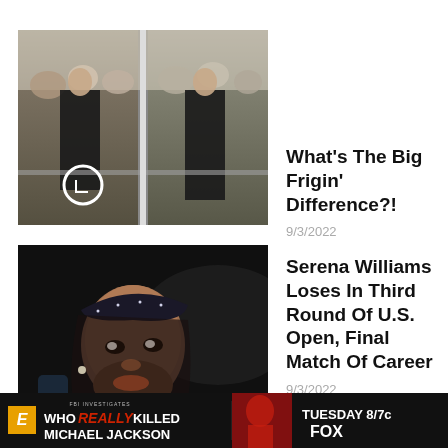[Figure (photo): Two side-by-side photos of a man in black outfit walking at an outdoor event with a crowd behind a barrier. Left photo has a white circle marker near the bottom left.]
What's The Big Frigin' Difference?!
9/3/2022
[Figure (photo): Close-up photo of Serena Williams wearing a dark headband, looking upward, with dark background.]
Serena Williams Loses In Third Round Of U.S. Open, Final Match Of Career
9/3/2022
[Figure (other): Advertisement banner for Fox show 'Who Really Killed Michael Jackson' airing Tuesday 8/7c FOX.]